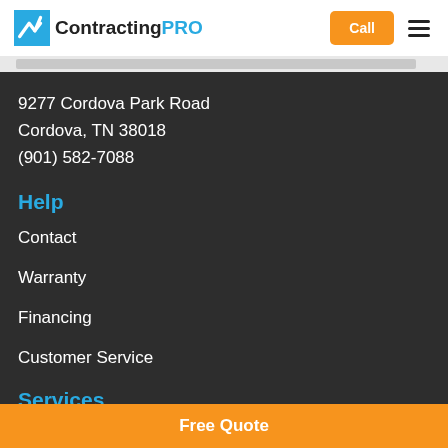[Figure (logo): ContractingPRO logo with blue chevron icon and text 'Contracting' in black and 'PRO' in blue]
Call
9277 Cordova Park Road
Cordova, TN 38018
(901) 582-7088
Help
Contact
Warranty
Financing
Customer Service
Services
Free Quote